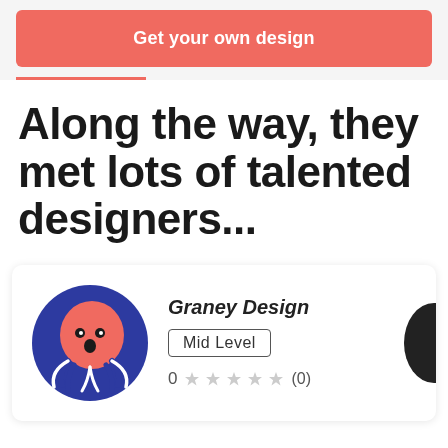Get your own design
Along the way, they met lots of talented designers...
[Figure (illustration): Designer profile card with octopus-like cartoon avatar on blue/red circular background for Graney Design]
Graney Design
Mid Level
0 ★ ★ ★ ★ ★ (0)